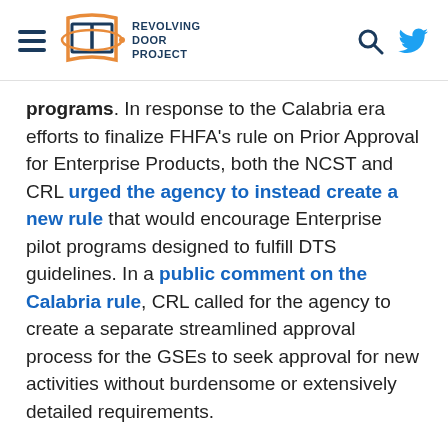Revolving Door Project
programs. In response to the Calabria era efforts to finalize FHFA's rule on Prior Approval for Enterprise Products, both the NCST and CRL urged the agency to instead create a new rule that would encourage Enterprise pilot programs designed to fulfill DTS guidelines. In a public comment on the Calabria rule, CRL called for the agency to create a separate streamlined approval process for the GSEs to seek approval for new activities without burdensome or extensively detailed requirements.